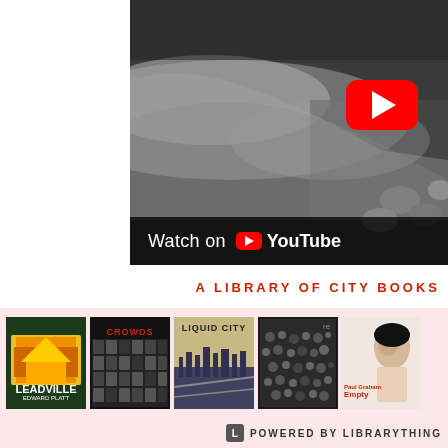[Figure (screenshot): YouTube video thumbnail showing a black and white photo of arms/hands near a bathtub with rocks, with a red YouTube play button overlay and 'Watch on YouTube' bar at the bottom]
A LIBRARY OF CITY BOOKS
[Figure (photo): A horizontal band showing five book covers on a pink background: Leadville by Edward Platt, Crowds (dark cover with repeated faces), Liquid City (city skyline), a black and white crowd photo book, and Paul Graham Empty Heaven]
POWERED BY LIBRARYTHING